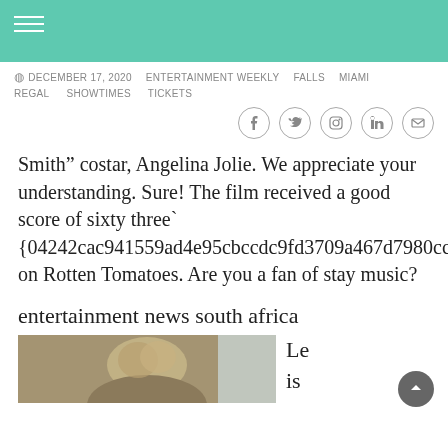DECEMBER 17, 2020   ENTERTAINMENT WEEKLY   FALLS   MIAMI   REGAL   SHOWTIMES   TICKETS
[Figure (other): Social sharing icons: Facebook, Twitter, Pinterest, LinkedIn, Email]
Smith” costar, Angelina Jolie. We appreciate your understanding. Sure! The film received a good score of sixty three` {04242cac941559ad4e95cbccdc9fd3709a467d7980cc930837279ba119b91947} on Rotten Tomatoes. Are you a fan of stay music?
entertainment news south africa
[Figure (photo): Photo of a person with curly/wavy hair outdoors, partial view]
Le is